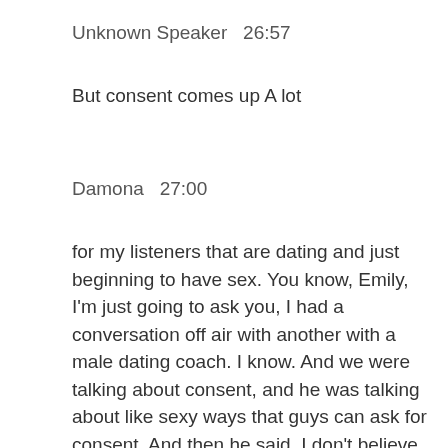Unknown Speaker  26:57
But consent comes up A lot
Damona  27:00
for my listeners that are dating and just beginning to have sex. You know, Emily, I'm just going to ask you, I had a conversation off air with another with a male dating coach. I know. And we were talking about consent, and he was talking about like sexy ways that guys can ask for consent. And then he said, I don't believe in asking for consent for a kiss. And I was like, Well